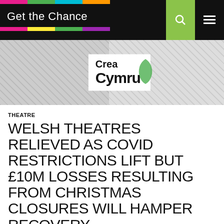Get the Chance
[Figure (logo): Crea Cymru logo on hatched banner background]
THEATRE
WELSH THEATRES RELIEVED AS COVID RESTRICTIONS LIFT BUT £10M LOSSES RESULTING FROM CHRISTMAS CLOSURES WILL HAMPER RECOVERY
JANUARY 17, 2022   ADMIN   LEAVE A COMMENT